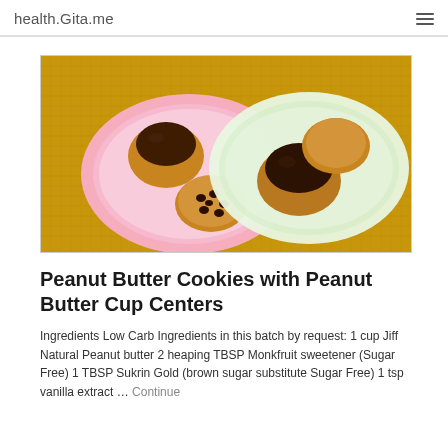health.Gita.me
[Figure (photo): Two decorative plates with peanut butter cookies and peanut butter cups on an orange/gold textured burlap background. Left plate is pink with elephant design, right plate is white/green with animal designs.]
Peanut Butter Cookies with Peanut Butter Cup Centers
Ingredients Low Carb Ingredients in this batch by request: 1 cup Jiff Natural Peanut butter 2 heaping TBSP Monkfruit sweetener (Sugar Free) 1 TBSP Sukrin Gold (brown sugar substitute Sugar Free) 1 tsp vanilla extract … Continue